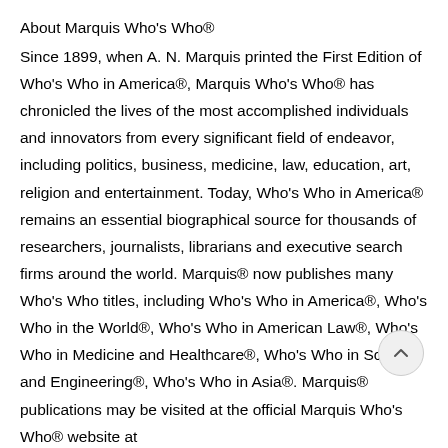About Marquis Who's Who®
Since 1899, when A. N. Marquis printed the First Edition of Who's Who in America®, Marquis Who's Who® has chronicled the lives of the most accomplished individuals and innovators from every significant field of endeavor, including politics, business, medicine, law, education, art, religion and entertainment. Today, Who's Who in America® remains an essential biographical source for thousands of researchers, journalists, librarians and executive search firms around the world. Marquis® now publishes many Who's Who titles, including Who's Who in America®, Who's Who in the World®, Who's Who in American Law®, Who's Who in Medicine and Healthcare®, Who's Who in Science and Engineering®, Who's Who in Asia®. Marquis® publications may be visited at the official Marquis Who's Who® website at